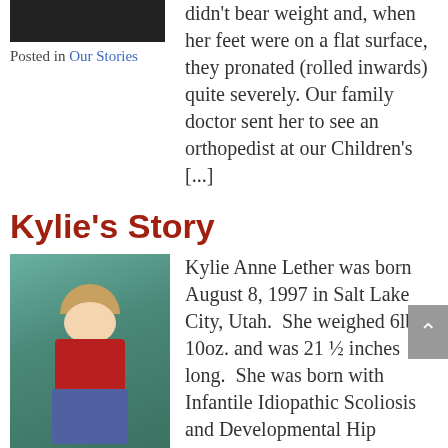[Figure (photo): Partial photo at top left, showing a dark image (cropped)]
Posted in Our Stories
didn't bear weight and, when her feet were on a flat surface, they pronated (rolled inwards) quite severely. Our family doctor sent her to see an orthopedist at our Children's [...]
Kylie's Story
[Figure (photo): A young girl with blonde hair wearing a red shirt and jeans, sitting on a playground slide]
Posted in Our Stories
Kylie Anne Lether was born August 8, 1997 in Salt Lake City, Utah. She weighed 6lbs. 10oz. and was 21 ½ inches long. She was born with Infantile Idiopathic Scoliosis and Developmental Hip Dysplasia. Her back had a